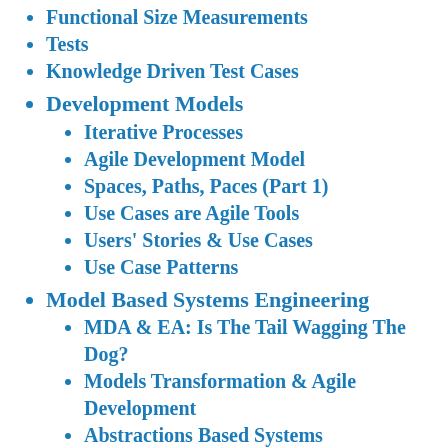Functional Size Measurements
Tests
Knowledge Driven Test Cases
Development Models
Iterative Processes
Agile Development Model
Spaces, Paths, Paces (Part 1)
Use Cases are Agile Tools
Users' Stories & Use Cases
Use Case Patterns
Model Based Systems Engineering
MDA & EA: Is The Tail Wagging The Dog?
Models Transformation & Agile Development
Abstractions Based Systems
Engineering